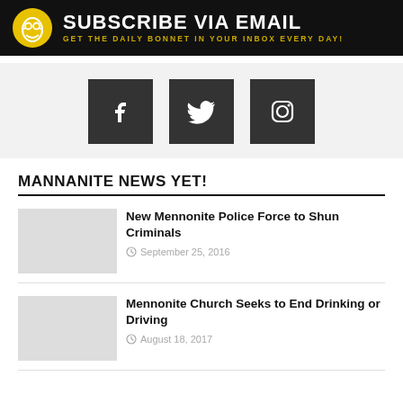[Figure (infographic): Subscribe via email banner: black background, yellow circular owl/mascot icon on left, white bold text 'SUBSCRIBE VIA EMAIL', golden subtitle 'GET THE DAILY BONNET IN YOUR INBOX EVERY DAY!']
[Figure (infographic): Social media icons bar on light grey background: Facebook, Twitter (bird), Instagram icons in dark square buttons]
MANNANITE NEWS YET!
New Mennonite Police Force to Shun Criminals
September 25, 2016
Mennonite Church Seeks to End Drinking or Driving
August 18, 2017